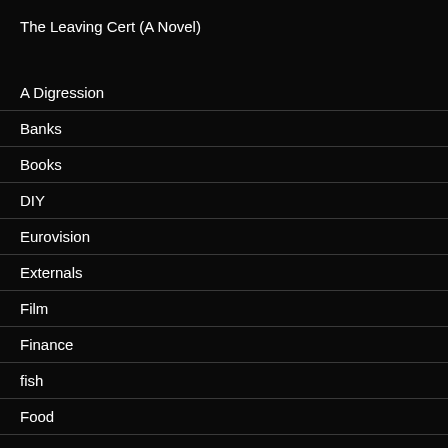The Leaving Cert (A Novel)
A Digression
Banks
Books
DIY
Eurovision
Externals
Film
Finance
fish
Food